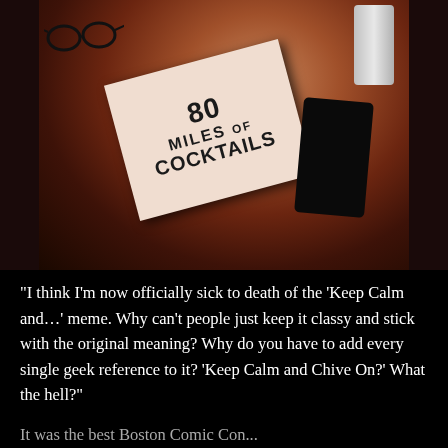[Figure (photo): A dim photograph taken on a dark wooden surface showing a book titled '80 Miles of Cocktails' lying flat, with eyeglasses in the upper left, a beverage can in the upper right, and what appears to be a dark phone or wallet to the right of the book.]
“I think I’m now officially sick to death of the ‘Keep Calm and…’ meme. Why can’t people just keep it classy and stick with the original meaning? Why do you have to add every single geek reference to it? ‘Keep Calm and Chive On?’ What the hell?”
It was the best Boston Comic Con...